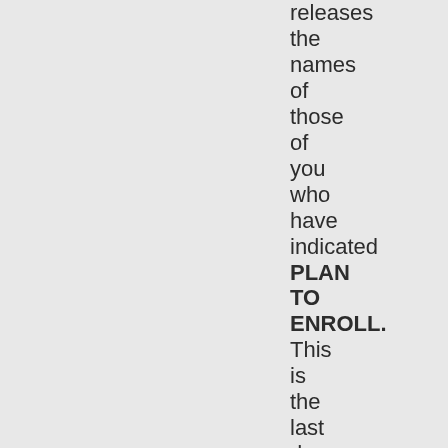releases the names of those of you who have indicated PLAN TO ENROLL. This is the last day to withdraw your acceptance